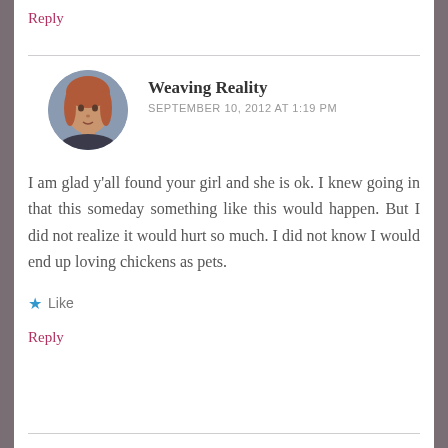Reply
[Figure (photo): Circular avatar photo of a young woman with reddish hair]
Weaving Reality
SEPTEMBER 10, 2012 AT 1:19 PM
I am glad y'all found your girl and she is ok. I knew going in that this someday something like this would happen. But I did not realize it would hurt so much. I did not know I would end up loving chickens as pets.
Like
Reply